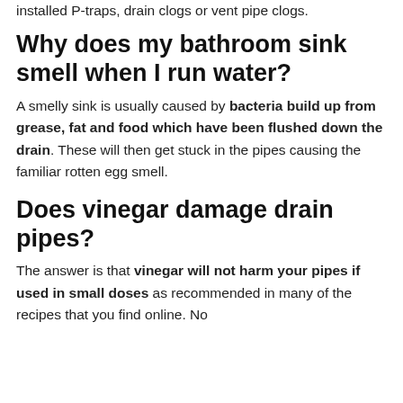installed P-traps, drain clogs or vent pipe clogs.
Why does my bathroom sink smell when I run water?
A smelly sink is usually caused by bacteria build up from grease, fat and food which have been flushed down the drain. These will then get stuck in the pipes causing the familiar rotten egg smell.
Does vinegar damage drain pipes?
The answer is that vinegar will not harm your pipes if used in small doses as recommended in many of the recipes that you find online. No